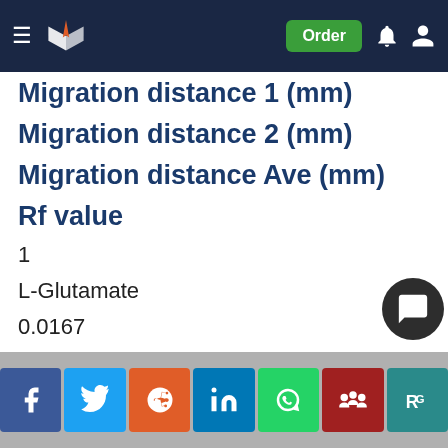Navigation bar with logo, Order button, notification and account icons
Migration distance 1 (mm)
Migration distance 2 (mm)
Migration distance Ave (mm)
Rf value
1
L-Glutamate
0.0167
68
—
—
Social share bar: Facebook, Twitter, Reddit, LinkedIn, WhatsApp, Mendeley, ResearchGate